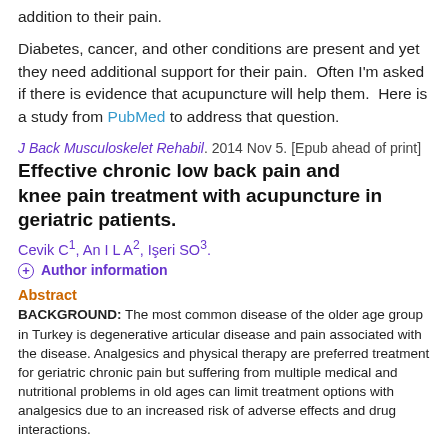addition to their pain.
Diabetes, cancer, and other conditions are present and yet they need additional support for their pain.  Often I'm asked if there is evidence that acupuncture will help them.  Here is a study from PubMed to address that question.
J Back Musculoskelet Rehabil. 2014 Nov 5. [Epub ahead of print]
Effective chronic low back pain and knee pain treatment with acupuncture in geriatric patients.
Cevik C1, An I L A2, Işeri SO3.
+ Author information
Abstract
BACKGROUND: The most common disease of the older age group in Turkey is degenerative articular disease and pain associated with the disease. Analgesics and physical therapy are preferred treatment for geriatric chronic pain but suffering from multiple medical and nutritional problems in old ages can limit treatment options with analgesics due to an increased risk of adverse effects and drug interactions.